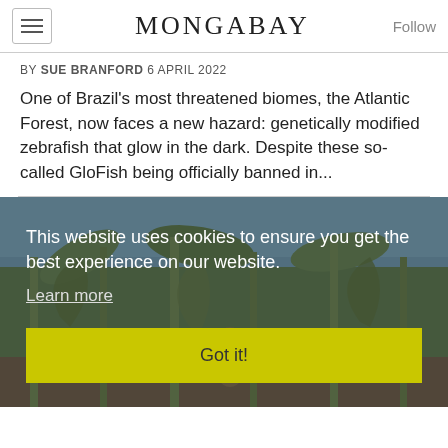MONGABAY
BY SUE BRANFORD 6 APRIL 2022
One of Brazil's most threatened biomes, the Atlantic Forest, now faces a new hazard: genetically modified zebrafish that glow in the dark. Despite these so-called GloFish being officially banned in...
[Figure (photo): Photo of tropical plants and banana leaves with a cookie consent overlay reading: 'This website uses cookies to ensure you get the best experience on our website. Learn more' and a yellow 'Got it!' button.]